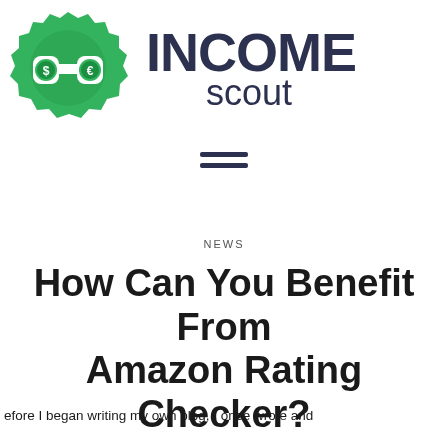[Figure (logo): Income Scout logo: green badge/seal with binoculars showing dollar and euro signs, beside bold 'INCOME scout' text in dark navy]
[Figure (other): Hamburger menu icon — two horizontal dark lines]
NEWS
How Can You Benefit From Amazon Rating Checker?
efore I began writing my own blog, I once wrote and